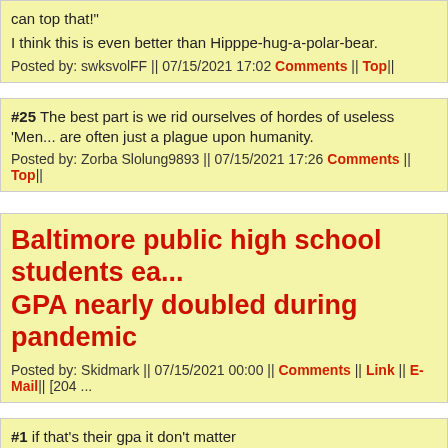can top that!"

I think this is even better than Hipppe-hug-a-polar-bear.
Posted by: swksvolFF || 07/15/2021 17:02 Comments || Top||
#25  The best part is we rid ourselves of hordes of useless 'Men... are often just a plague upon humanity.
Posted by: Zorba Slolung9893 || 07/15/2021 17:26 Comments || Top||
Baltimore public high school students ea... GPA nearly doubled during pandemic
Posted by: Skidmark || 07/15/2021 00:00 || Comments || Link || E-Mail|| [204 ...
#1  if that's their gpa it don't matter
Posted by: Chris || 07/15/2021 1:27 Comments || Top||
#2  Hey, they're beating Blutarsky...
Posted by: Raj || 07/15/2021 1:30 Comments || Top||
#3  ^^^
Thats Rayciss - He was White